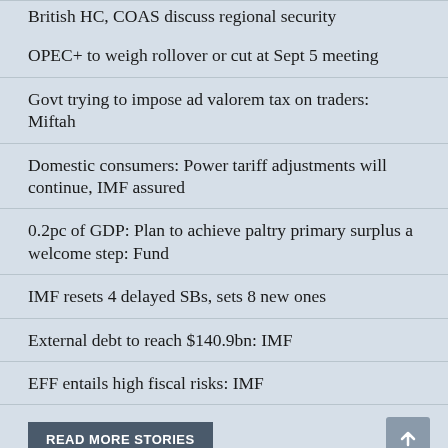British HC, COAS discuss regional security
OPEC+ to weigh rollover or cut at Sept 5 meeting
Govt trying to impose ad valorem tax on traders: Miftah
Domestic consumers: Power tariff adjustments will continue, IMF assured
0.2pc of GDP: Plan to achieve paltry primary surplus a welcome step: Fund
IMF resets 4 delayed SBs, sets 8 new ones
External debt to reach $140.9bn: IMF
EFF entails high fiscal risks: IMF
READ MORE STORIES